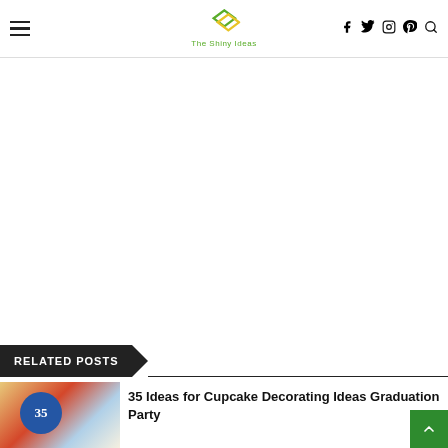The Shiny Ideas — navigation header with hamburger menu, logo, social icons (Facebook, Twitter, Instagram, Pinterest) and search
[Figure (other): White advertisement/blank area below header]
RELATED POSTS
[Figure (photo): Thumbnail photo of cupcakes with blue frosted circle showing number 35]
35 Ideas for Cupcake Decorating Ideas Graduation Party